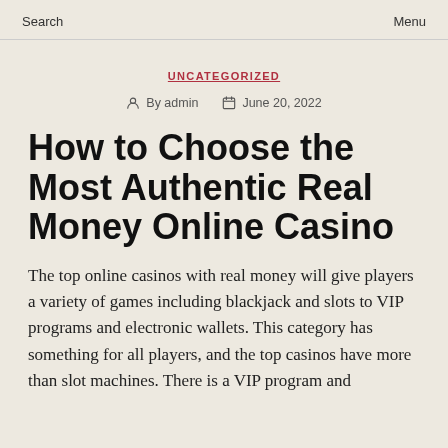Search    Menu
UNCATEGORIZED
By admin   June 20, 2022
How to Choose the Most Authentic Real Money Online Casino
The top online casinos with real money will give players a variety of games including blackjack and slots to VIP programs and electronic wallets. This category has something for all players, and the top casinos have more than slot machines. There is a VIP program and